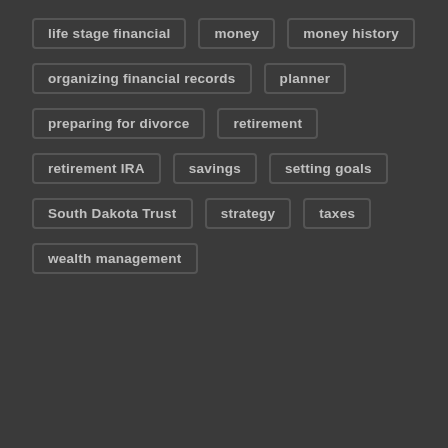life stage financial
money
money history
organizing financial records
planner
preparing for divorce
retirement
retirement IRA
savings
setting goals
South Dakota Trust
strategy
taxes
wealth management